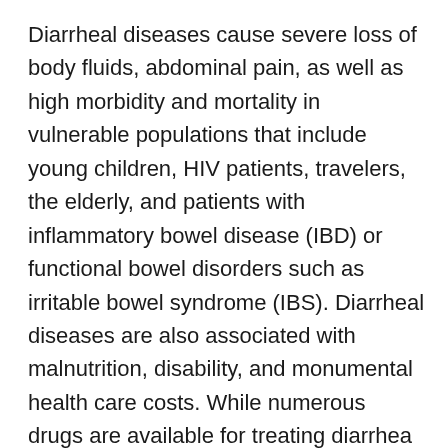Diarrheal diseases cause severe loss of body fluids, abdominal pain, as well as high morbidity and mortality in vulnerable populations that include young children, HIV patients, travelers, the elderly, and patients with inflammatory bowel disease (IBD) or functional bowel disorders such as irritable bowel syndrome (IBS). Diarrheal diseases are also associated with malnutrition, disability, and monumental health care costs. While numerous drugs are available for treating diarrhea illnesses, opiates are the only drugs that quickly shortens the duration of diarrheal diseases and offer relief from cramping and pain. However, opiates are addictive and not recommended for use in children, they cause bowel dysfunction, drowsiness, and potentially fatal overdoses. Importantly even the peripherally acting, over the counter opioids for self-medicating are increasing posing a crisis of